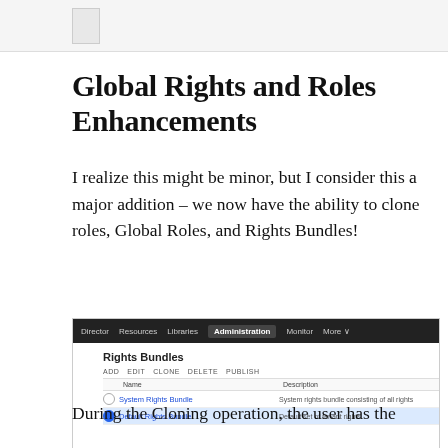Global Rights and Roles Enhancements
I realize this might be minor, but I consider this a major addition – we now have the ability to clone roles, Global Roles, and Rights Bundles!
[Figure (screenshot): Screenshot of a web application showing a 'Rights Bundles' administration page with a dark navigation bar (Director, Resources, Libraries, Administration, Monitor, More) and a table listing 'System Rights Bundle' and 'Default Rights Bundle' with ADD, EDIT, CLONE, DELETE, PUBLISH action buttons.]
During the Cloning operation, the user has the